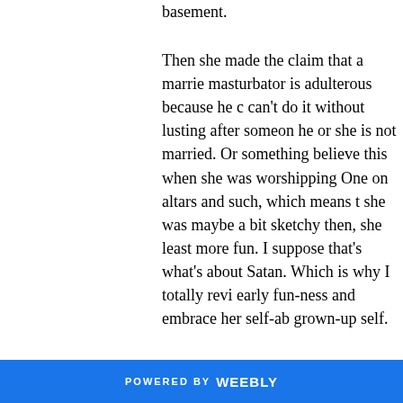basement.
Then she made the claim that a married masturbator is adulterous because he can't do it without lusting after someone he or she is not married. Or something. I believe this when she was worshipping the One on altars and such, which means that she was maybe a bit sketchy then, she was at least more fun. I suppose that's what's nice about Satan. Which is why I totally revive her early fun-ness and embrace her self-abnegating grown-up self.
But I don't just like her because she's a devil-loving masturbator-hater. She's also proof that it's way easier to be an expert than might have thought.
POWERED BY weebly